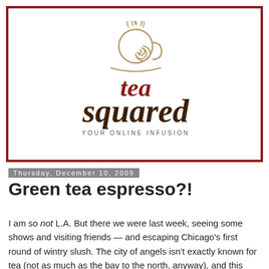[Figure (logo): Tea Squared logo: a stylized tea cup icon in tan/gold above the text 'tea squared' in dark brown and crimson red cursive lettering, with 'YOUR ONLINE INFUSION' in small caps below, all within a dark red border rectangle]
Thursday, December 10, 2009
Green tea espresso?!
I am so not L.A. But there we were last week, seeing some shows and visiting friends — and escaping Chicago's first round of wintry slush. The city of angels isn't exactly known for tea (not as much as the bay to the north, anyway), and this unfortunately wasn't a tea excursion for me. To my